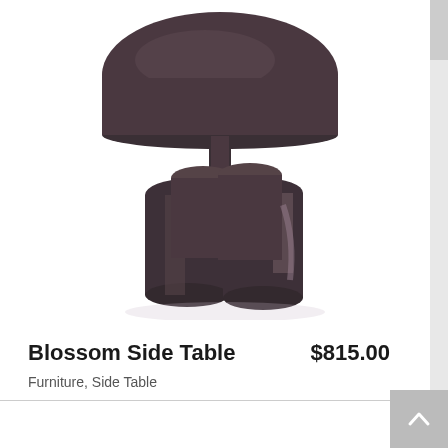[Figure (photo): A dark gunmetal/bronze colored Blossom Side Table with a round flat circular top supported by a central stem, and four cylindrical petal-shaped legs clustered at the base, photographed on white background.]
Blossom Side Table
$815.00
Furniture, Side Table